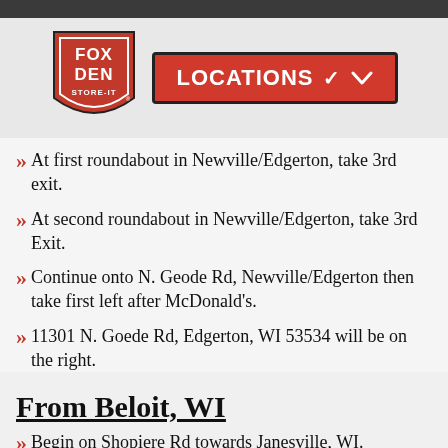[Figure (logo): Fox Den Store-It logo (red shield shape with FOX DEN STORE-IT text) and a LOCATIONS dropdown button]
At first roundabout in Newville/Edgerton, take 3rd exit.
At second roundabout in Newville/Edgerton, take 3rd Exit.
Continue onto N. Geode Rd, Newville/Edgerton then take first left after McDonald's.
11301 N. Goede Rd, Edgerton, WI 53534 will be on the right.
From Beloit, WI
Begin on Shopiere Rd towards Janesville, WI.